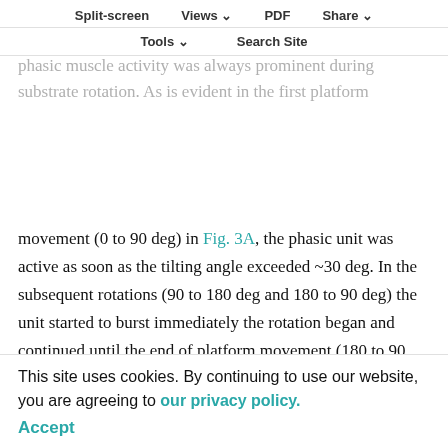to obtain a safe attachment – at least when the attachment requirements exceed a certain level. In our experiments, phasic muscle activity was always prominent during substrate rotation. As is evident in the first platform movement (0 to 90 deg) in Fig. 3A, the phasic unit was active as soon as the tilting angle exceeded ~30 deg. In the subsequent rotations (90 to 180 deg and 180 to 90 deg) the unit started to burst immediately the rotation began and continued until the end of platform movement (180 to 90 deg) or slightly beyond (90 to 180 deg). In the last rotation (90 to 0 deg) the phasic unit was active until the platform angle decreased below the value that presumably initiated phasic muscle discharge in the first rotation (~30
Split-screen   Views   PDF   Share   Tools   Search Site
This site uses cookies. By continuing to use our website, you are agreeing to our privacy policy. Accept